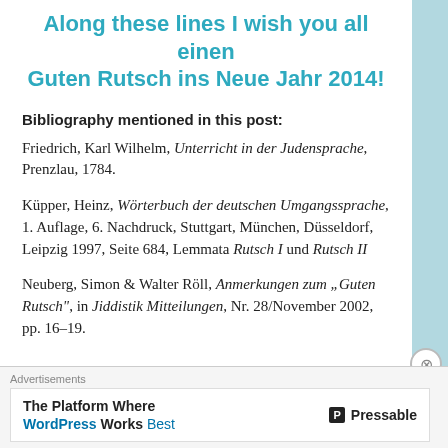Along these lines I wish you all einen Guten Rutsch ins Neue Jahr 2014!
Bibliography mentioned in this post:
Friedrich, Karl Wilhelm, Unterricht in der Judensprache, Prenzlau, 1784.
Küpper, Heinz, Wörterbuch der deutschen Umgangssprache, 1. Auflage, 6. Nachdruck, Stuttgart, München, Düsseldorf, Leipzig 1997, Seite 684, Lemmata Rutsch I und Rutsch II
Neuberg, Simon & Walter Röll, Anmerkungen zum „Guten Rutsch", in Jiddistik Mitteilungen, Nr. 28/November 2002, pp. 16–19.
Advertisements
The Platform Where WordPress Works Best   Pressable